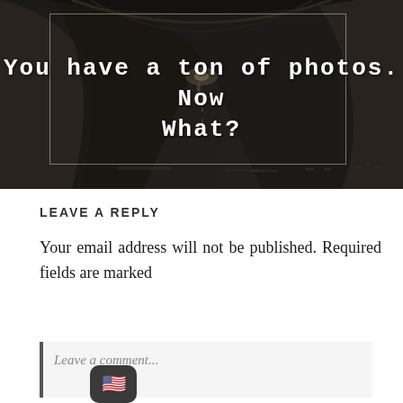[Figure (photo): Dark moody photograph of a tunnel or underpass with a road leading through it, dark sepia/monochrome tones, a lone figure visible in the distance]
You have a ton of photos. Now What?
LEAVE A REPLY
Your email address will not be published. Required fields are marked
Leave a comment...